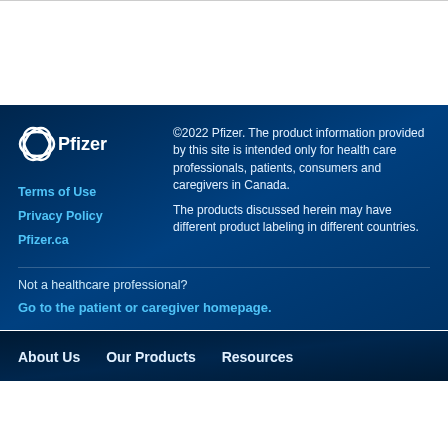[Figure (logo): Pfizer logo in white on dark blue background]
Terms of Use
Privacy Policy
Pfizer.ca
©2022 Pfizer. The product information provided by this site is intended only for health care professionals, patients, consumers and caregivers in Canada. The products discussed herein may have different product labeling in different countries.
Not a healthcare professional?
Go to the patient or caregiver homepage.
About Us   Our Products   Resources